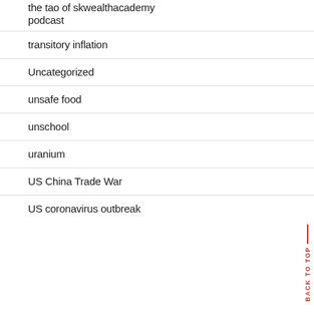the tao of skwealthacademy podcast
transitory inflation
Uncategorized
unsafe food
unschool
uranium
US China Trade War
US coronavirus outbreak